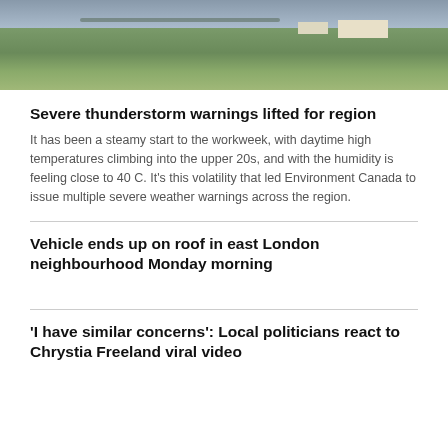[Figure (photo): Aerial or landscape photo showing green fields, farmland, and buildings in the background under a cloudy sky.]
Severe thunderstorm warnings lifted for region
It has been a steamy start to the workweek, with daytime high temperatures climbing into the upper 20s, and with the humidity is feeling close to 40 C. It's this volatility that led Environment Canada to issue multiple severe weather warnings across the region.
Vehicle ends up on roof in east London neighbourhood Monday morning
'I have similar concerns': Local politicians react to Chrystia Freeland viral video